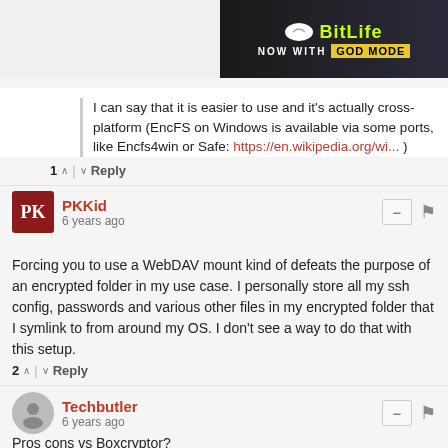[Figure (screenshot): BitLife advertisement banner with 'NOW WITH GOD MODE' text on dark background]
I can say that it is easier to use and it's actually cross-platform (EncFS on Windows is available via some ports, like Encfs4win or Safe: https://en.wikipedia.org/wi... )
1 ↑ | ↓ Reply
PKKid
6 years ago
Forcing you to use a WebDAV mount kind of defeats the purpose of an encrypted folder in my use case. I personally store all my ssh config, passwords and various other files in my encrypted folder that I symlink to from around my OS. I don't see a way to do that with this setup.
2 ↑ | ↓ Reply
Techbutler
6 years ago
Pros cons vs Boxcryptor?